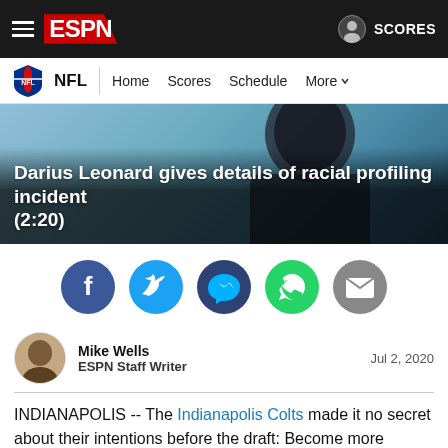ESPN — NFL | Home Scores Schedule More | SCORES
[Figure (screenshot): ESPN website header with hamburger menu, ESPN logo, and SCORES button on dark bar; secondary nav with NFL logo, NFL label, Home, Scores, Schedule, More links]
[Figure (photo): Hero image showing a dark silhouette of a hooded figure against a blue-grey background with overlay text: Darius Leonard gives details of racial profiling incident (2:20)]
Darius Leonard gives details of racial profiling incident (2:20)
[Figure (infographic): Social sharing buttons row: Facebook (dark blue), Twitter (light blue), Messenger (dark blue), WhatsApp (green), Email (grey)]
Mike Wells
ESPN Staff Writer
Jul 2, 2020
INDIANAPOLIS -- The Indianapolis Colts made it no secret about their intentions before the draft: Become more explosive on offense.
The Colts didn't have a first-round pick but had two in the